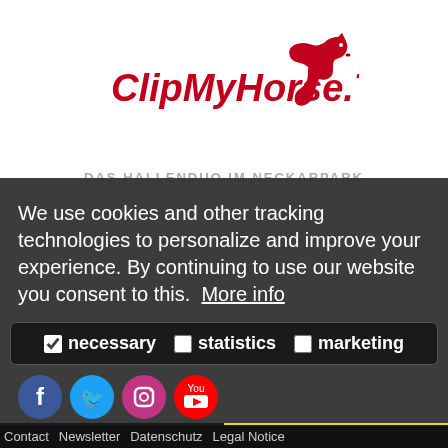[Figure (logo): ClipMyHorse.TV logo with red horse silhouette and red bold text]
DAS HALLENDUO IM NECKARPARK
We use cookies and other tracking technologies to personalize and improve your experience. By continuing to use our website you consent to this.  More info
necessary   statistics   marketing
allow cookies
allow all!
Contact  Newsletter  Datenschutz  Legal Notice